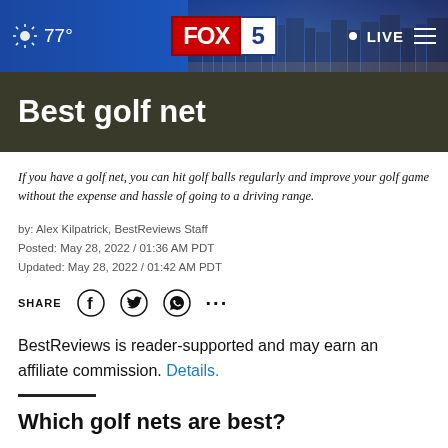77° FOX 5 LIVE
Best golf net
If you have a golf net, you can hit golf balls regularly and improve your golf game without the expense and hassle of going to a driving range.
by: Alex Kilpatrick, BestReviews Staff
Posted: May 28, 2022 / 01:36 AM PDT
Updated: May 28, 2022 / 01:42 AM PDT
SHARE
BestReviews is reader-supported and may earn an affiliate commission. Details.
Which golf nets are best?